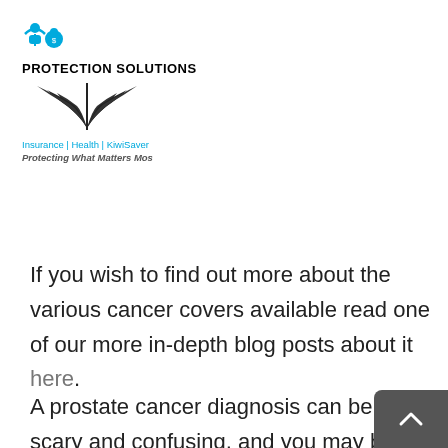[Figure (logo): Protection Solutions logo with two icons (person and piggy bank), fern illustration, bold text PROTECTION SOLUTIONS, tagline Insurance | Health | KiwiSaver, Protecting What Matters Most]
If you wish to find out more about the various cancer covers available read one of our more in-depth blog posts about it here.
A prostate cancer diagnosis can be scary and confusing, and you may be left with more questions than answers, if you need more support or advice contact The Prostate Cancer Foundation about Blue September